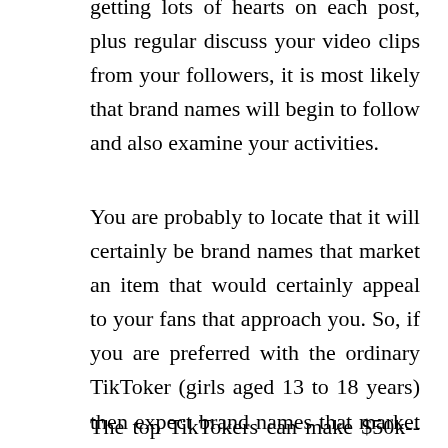getting lots of hearts on each post, plus regular discuss your video clips from your followers, it is most likely that brand names will begin to follow and also examine your activities.
You are probably to locate that it will certainly be brand names that market an item that would certainly appeal to your fans that approach you. So, if you are preferred with the ordinary TikToker (girls aged 13 to 18 years) then expect brand names that market items to teenage girls to take a passion in you.
The top TikTokers can make $50k-- 150k for an